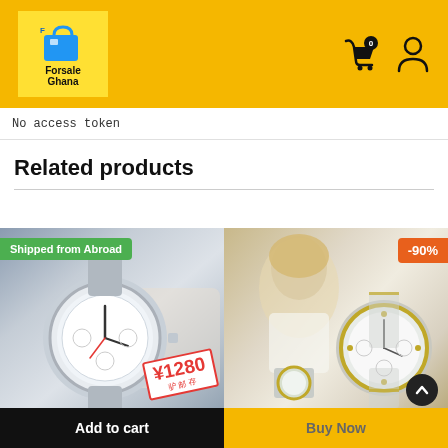[Figure (logo): Forsale Ghana logo - shopping bag icon with yellow background and store name]
No access token
Related products
[Figure (photo): Silver chronograph watch with white dial, price tag showing ¥1280, green badge 'Shipped from Abroad']
[Figure (photo): Woman wearing gold and silver luxury watch, orange badge showing -90% discount]
Add to cart
Buy Now